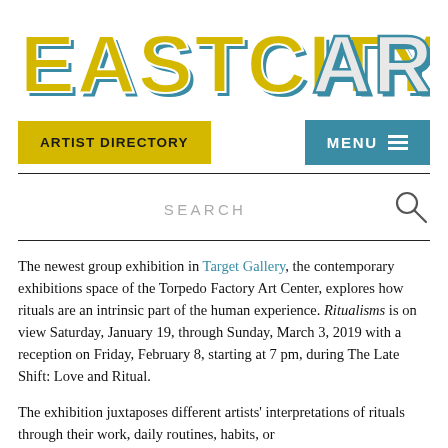[Figure (logo): EastCityArt logo in large stylized block letters — 'EASTCITY' in yellow/gold with teal shadow and 'ART' in white/grey with teal shadow]
ARTIST DIRECTORY   MENU
SEARCH
The newest group exhibition in Target Gallery, the contemporary exhibitions space of the Torpedo Factory Art Center, explores how rituals are an intrinsic part of the human experience. Ritualisms is on view Saturday, January 19, through Sunday, March 3, 2019 with a reception on Friday, February 8, starting at 7 pm, during The Late Shift: Love and Ritual.
The exhibition juxtaposes different artists' interpretations of rituals through their work, daily routines, habits, or